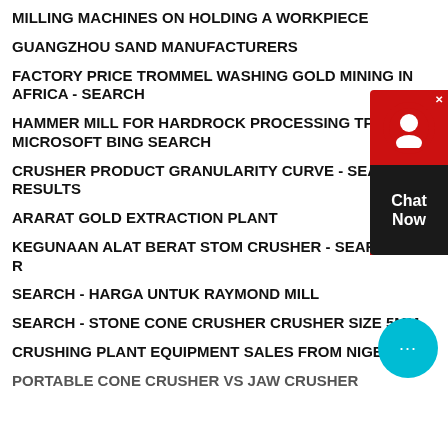MILLING MACHINES ON HOLDING A WORKPIECE
GUANGZHOU SAND MANUFACTURERS
FACTORY PRICE TROMMEL WASHING GOLD MINING IN AFRICA - SEARCH
HAMMER MILL FOR HARDROCK PROCESSING TPH - MICROSOFT BING SEARCH
CRUSHER PRODUCT GRANULARITY CURVE - SEARCH RESULTS
ARARAT GOLD EXTRACTION PLANT
KEGUNAAN ALAT BERAT STOM CRUSHER - SEARCH RESULTS
SEARCH - HARGA UNTUK RAYMOND MILL
SEARCH - STONE CONE CRUSHER CRUSHER SIZE 5MM
CRUSHING PLANT EQUIPMENT SALES FROM NIGERIA
PORTABLE CONE CRUSHER VS JAW CRUSHER